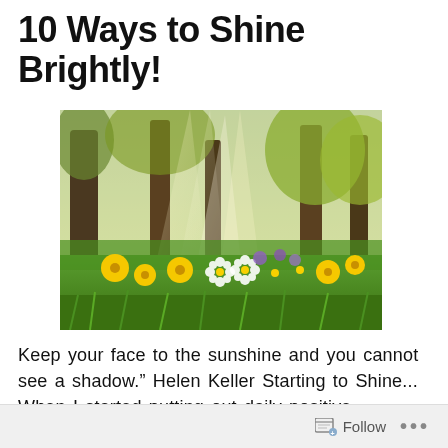10 Ways to Shine Brightly!
[Figure (photo): Sunlit forest scene with trees and sunbeams shining through, with a meadow of wildflowers in the foreground including white daisies, yellow dandelions, and purple flowers in lush green grass.]
Keep your face to the sunshine and you cannot see a shadow.” Helen Keller Starting to Shine... When I started putting out daily positive
Follow ...